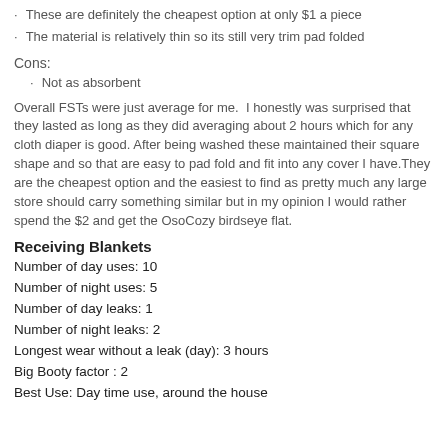These are definitely the cheapest option at only $1 a piece
The material is relatively thin so its still very trim pad folded
Cons:
Not as absorbent
Overall FSTs were just average for me.  I honestly was surprised that they lasted as long as they did averaging about 2 hours which for any cloth diaper is good. After being washed these maintained their square shape and so that are easy to pad fold and fit into any cover I have.They are the cheapest option and the easiest to find as pretty much any large store should carry something similar but in my opinion I would rather spend the $2 and get the OsoCozy birdseye flat.
Receiving Blankets
Number of day uses: 10
Number of night uses: 5
Number of day leaks: 1
Number of night leaks: 2
Longest wear without a leak (day): 3 hours
Big Booty factor : 2
Best Use: Day time use, around the house